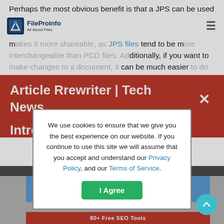FileProInfo | All About Files
Perhaps the most obvious benefit is that a JPS can be used on any device, whereas a PCD file is limited to devices that support the PCD format. Converting a PCD to JPS also makes it more shareable, as JPS files tend to be more interchangeable than PCD files. Additionally, if you want to make changes to a document, it can be much easier to do so in JPS format than in PCD format. Finally, converting to JPS is generally a quick and easy process that can be done for free using this free online PCD…
[Figure (screenshot): Red notification banner overlay reading 'Article Rrewriter | Tech News' with a white X close button, overlaying the article text. Below the banner is a cookie consent modal dialog with text about cookies, links to Privacy Policy and Terms of Service, and a green 'I Agree' button.]
[Figure (screenshot): Bottom portion of the webpage showing a dark header bar with a grey background area and blue rectangular blocks, with a red bottom bar showing '80+ Free SEO Tools' text partially visible.]